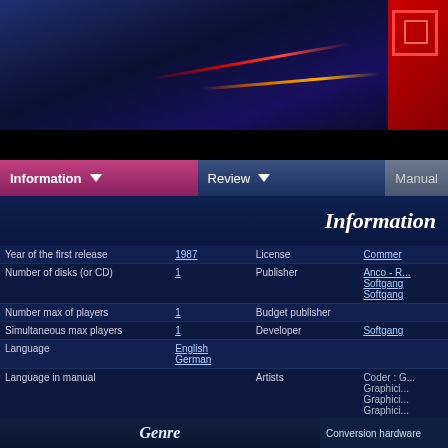[Figure (screenshot): Top banner showing a space battle scene with laser beams (red and orange) against a dark blue starfield background. Red logo/icon in top right corner.]
Information | Review | Manual
Information
| Field | Value | Field | Value |
| --- | --- | --- | --- |
| Year of the first release | 1987 | License | Commer... |
| Number of disks (or CD) | 1 | Publisher | Anco - R...
Softgang...
Softgang... |
| Number max of players | 1 | Budget publisher |  |
| Simultaneous max players | 1 | Developer | Softgang... |
| Language | English
German |  |  |
| Language in manual |  | Artists | Coder : C...
Graphici...
Graphici...
Graphici... |
| Hardware | OCS |  |  |
| Amiga original game | yes |  |  |
| Have cheatcode | no |  |  |
| Have SPS release | yes |  |  |
| WHD install | yes | WHD information | Author
Updated |
| HD install | unknown | HD notes |  |
| Genre |  | Conversion hardware |  |